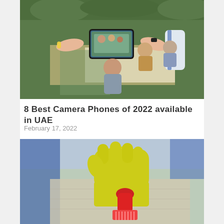[Figure (photo): Hands holding a smartphone photographing a family gathering at an outdoor dining table. Person on left wears yellow bracelet, person on right wears black smartwatch and striped blue sleeve. Family members seated at table in background in a garden.]
8 Best Camera Phones of 2022 available in UAE
February 17, 2022
[Figure (photo): A hand wearing a yellow rubber glove holds a red cleaning brush, scrubbing a light-colored fabric surface. A blue couch is visible in the background.]